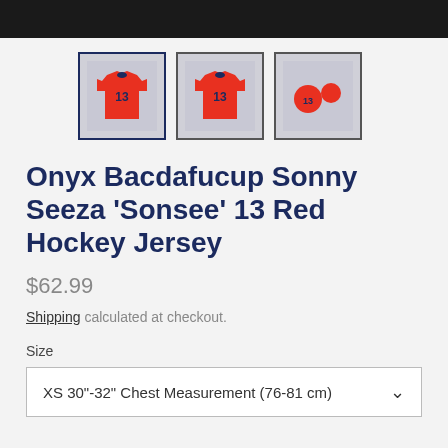[Figure (photo): Black banner bar at top of page]
[Figure (photo): Three product thumbnail images of a red hockey jersey (Onyx Bacdafucup Sonny Seeza 'Sonsee' 13). First thumbnail has dark navy border and is selected. Second and third thumbnails have dark border.]
Onyx Bacdafucup Sonny Seeza 'Sonsee' 13 Red Hockey Jersey
$62.99
Shipping calculated at checkout.
Size
XS 30"-32" Chest Measurement (76-81 cm)